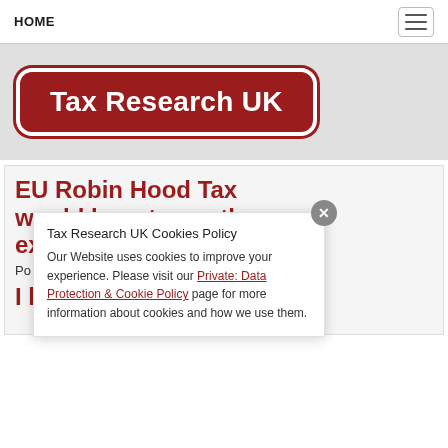HOME
[Figure (logo): Tax Research UK logo — white text on dark red rounded rectangle badge]
EU Robin Hood Tax would boost growth, say experts
Po...
I h...
Tax Research UK Cookies Policy
Our Website uses cookies to improve your experience. Please visit our Private: Data Protection & Cookie Policy page for more information about cookies and how we use them.